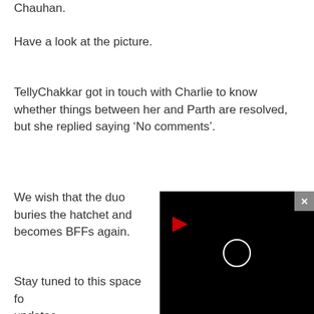Chauhan.
Have a look at the picture.
TellyChakkar got in touch with Charlie to know whether things between her and Parth are resolved, but she replied saying ‘No comments’.
We wish that the duo buries the hatchet and becomes BFFs again.
Stay tuned to this space fo updates.
[Figure (screenshot): Video player overlay in bottom-right corner with black background, close button (X), red play arrow icon, and circular spinner/loading indicator]